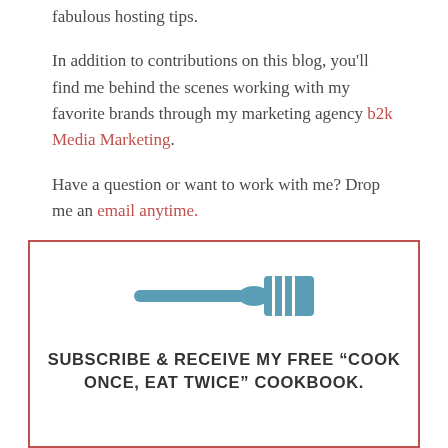fabulous hosting tips.
In addition to contributions on this blog, you'll find me behind the scenes working with my favorite brands through my marketing agency b2k Media Marketing.
Have a question or want to work with me? Drop me an email anytime.
♥, Katie
[Figure (illustration): A teal/blue fork icon inside a red-bordered subscription box]
SUBSCRIBE & RECEIVE MY FREE “COOK ONCE, EAT TWICE” COOKBOOK.